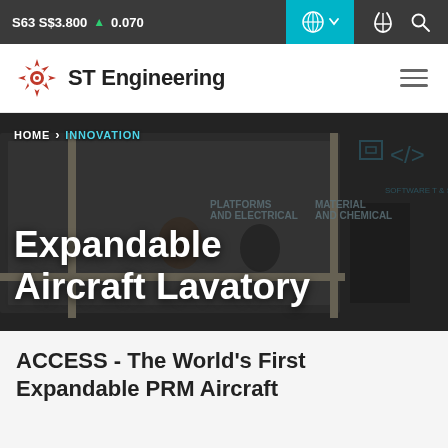S63 S$3.800 ▲ 0.070
[Figure (logo): ST Engineering logo with red starburst icon]
[Figure (photo): Hero image showing an engineering/innovation workspace with people working, overlaid with text 'Expandable Aircraft Lavatory' and breadcrumb navigation HOME > INNOVATION]
ACCESS - The World's First Expandable PRM Aircraft